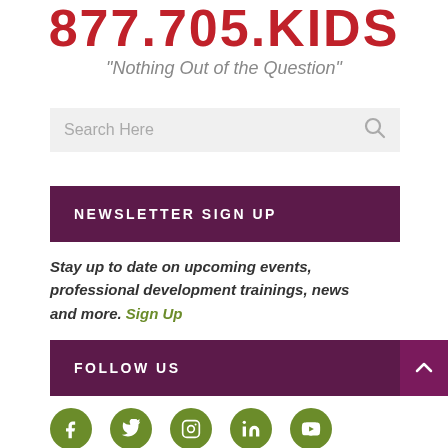877.705.KIDS
"Nothing Out of the Question"
[Figure (screenshot): Search bar with placeholder text 'Search Here' and a magnifying glass icon on a light grey background]
NEWSLETTER SIGN UP
Stay up to date on upcoming events, professional development trainings, news and more. Sign Up
FOLLOW US
[Figure (infographic): Five green circular social media icons: Facebook, Twitter, Instagram, LinkedIn, YouTube]